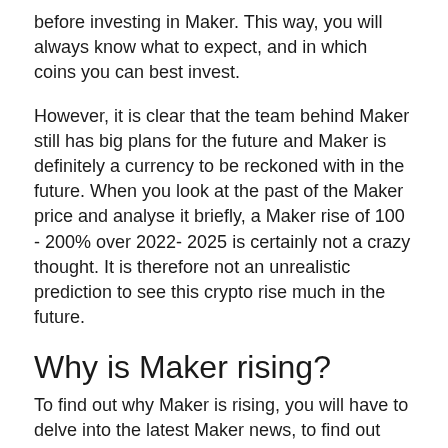before investing in Maker. This way, you will always know what to expect, and in which coins you can best invest.
However, it is clear that the team behind Maker still has big plans for the future and Maker is definitely a currency to be reckoned with in the future. When you look at the past of the Maker price and analyse it briefly, a Maker rise of 100 - 200% over 2022- 2025 is certainly not a crazy thought. It is therefore not an unrealistic prediction to see this crypto rise much in the future.
Why is Maker rising?
To find out why Maker is rising, you will have to delve into the latest Maker news, to find out what the latest Maker developments are. For example, has Maker entered into a new partnership which has given Maker more acceptance? Then the Maker price can experience a positive increase. You also see, for example, that certain large companies or